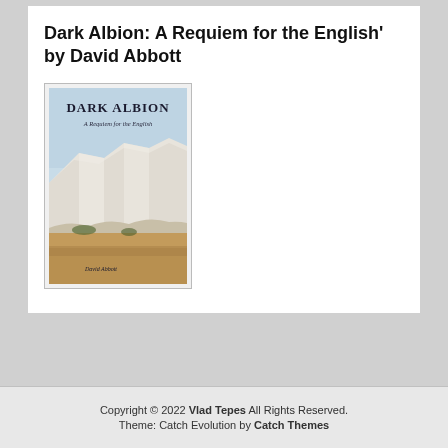Dark Albion: A Requiem for the English' by David Abbott
[Figure (illustration): Book cover of 'Dark Albion: A Requiem for the English' by David Abbott, showing white chalk cliffs and a sandy foreground under a blue sky, with the title in large serif text at the top and the author name at the bottom.]
Copyright © 2022 Vlad Tepes All Rights Reserved. Theme: Catch Evolution by Catch Themes